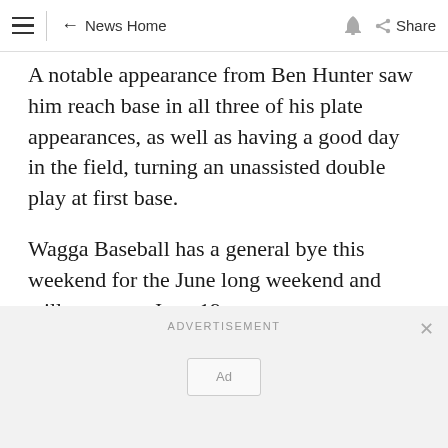≡  ← News Home  🔔  Share
A notable appearance from Ben Hunter saw him reach base in all three of his plate appearances, as well as having a good day in the field, turning an unassisted double play at first base.
Wagga Baseball has a general bye this weekend for the June long weekend and will return on June 19.
ADVERTISEMENT
Ad